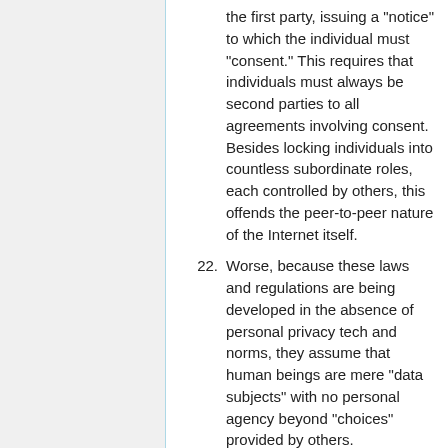the first party, issuing a "notice" to which the individual must "consent." This requires that individuals must always be second parties to all agreements involving consent. Besides locking individuals into countless subordinate roles, each controlled by others, this offends the peer-to-peer nature of the Internet itself.
22. Worse, because these laws and regulations are being developed in the absence of personal privacy tech and norms, they assume that human beings are mere "data subjects" with no personal agency beyond "choices" provided by others.
23. At this early stage in the evolution